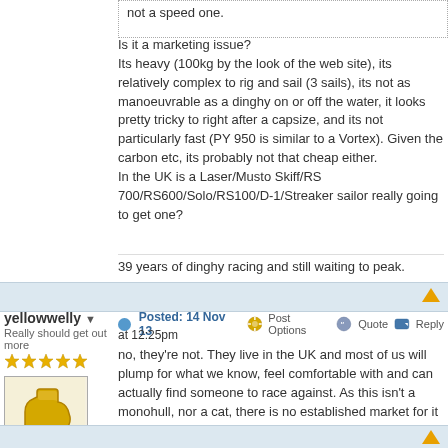not a speed one.
Is it a marketing issue?
Its heavy (100kg by the look of the web site), its relatively complex to rig and sail (3 sails), its not as manoeuvrable as a dinghy on or off the water, it looks pretty tricky to right after a capsize, and its not particularly fast (PY 950 is similar to a Vortex). Given the carbon etc, its probably not that cheap either.
In the UK is a Laser/Musto Skiff/RS 700/RS600/Solo/RS100/D-1/Streaker sailor really going to get one?
39 years of dinghy racing and still waiting to peak.
yellowwelly ▼
Really should get out more
[Figure (photo): Yellow welly boot avatar image]
Joined: 24 May 13
Online Status: Offline
Posts: 2003
Posted: 14 Nov 13 at 12:25pm   Post Options   Quote   Reply
no, they're not.  They live in the UK and most of us will plump for what we know, feel comfortable with and can actually find someone to race against.  As this isn't a monohull, nor a cat, there is no established market for it outside of PY, and PY boats sub 1000 have limited market due to restrictions- be that tidal or lake bank....
however in emerging markets, without the baggage of our complexity, they can sell it as fast and accessible... which it is I guess.